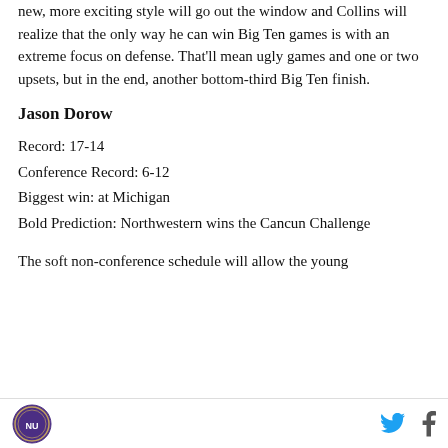new, more exciting style will go out the window and Collins will realize that the only way he can win Big Ten games is with an extreme focus on defense. That'll mean ugly games and one or two upsets, but in the end, another bottom-third Big Ten finish.
Jason Dorow
Record: 17-14
Conference Record: 6-12
Biggest win: at Michigan
Bold Prediction: Northwestern wins the Cancun Challenge
The soft non-conference schedule will allow the young
NU logo | Twitter | Facebook